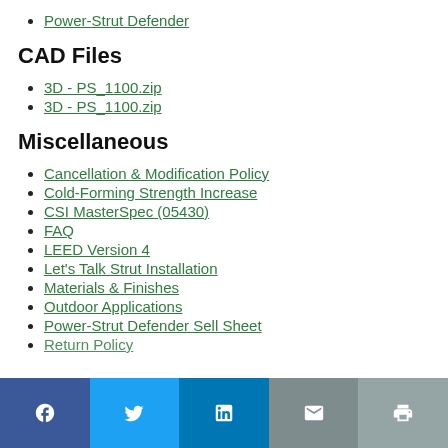Power-Strut Defender
CAD Files
3D - PS_1100.zip
3D - PS_1100.zip
Miscellaneous
Cancellation & Modification Policy
Cold-Forming Strength Increase
CSI MasterSpec (05430)
FAQ
LEED Version 4
Let's Talk Strut Installation
Materials & Finishes
Outdoor Applications
Power-Strut Defender Sell Sheet
Return Policy
Social share bar: Facebook, Twitter, LinkedIn, Email, Print